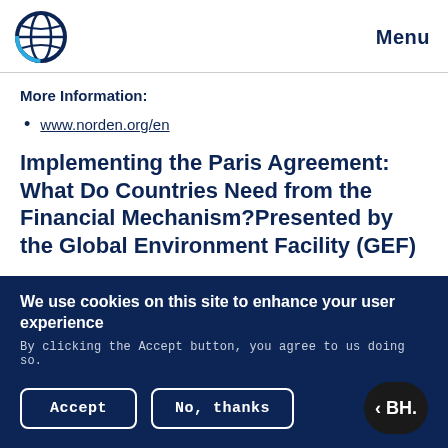Menu
More Information:
www.norden.org/en
Implementing the Paris Agreement: What Do Countries Need from the Financial Mechanism?Presented by the Global Environment Facility (GEF)
We use cookies on this site to enhance your user experience
By clicking the Accept button, you agree to us doing so.
Accept
No, thanks